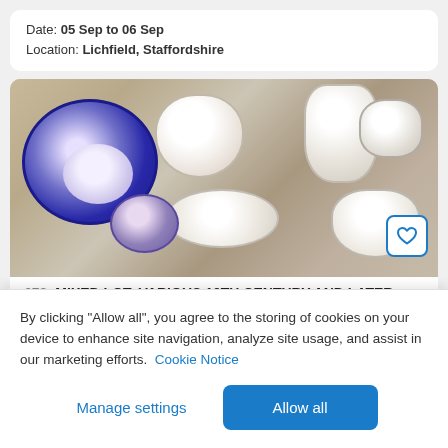Date: 05 Sep to 06 Sep
Location: Lichfield, Staffordshire
[Figure (photo): Overhead view of various antique ceramic pieces including blue-patterned bowls, white cups, a jug, and a shell-shaped dish arranged on a wooden surface]
673  MIXED LOT: VARIOUS 19TH CENTURY AND LATER
By clicking "Allow all", you agree to the storing of cookies on your device to enhance site navigation, analyze site usage, and assist in our marketing efforts.  Cookie Notice
Manage settings
Allow all